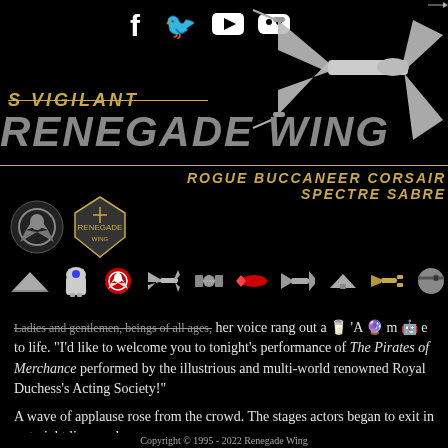[Figure (logo): Social media icons bar: Facebook, Twitter, YouTube, Discord]
[Figure (illustration): X-wing starfighter illustration in upper right corner]
S VIGILANT
RENEGADE WING
ROGUE BUCCANEER CORSAIR
SPECTRE SABRE
[Figure (logo): Rebel Alliance logo and Renegade Wing shield badge logos]
[Figure (illustration): Navigation icon row: starships, rebel symbol, R2-D2, C-3PO, planet/Death Star icons]
Ladies and gentlemen, beings of all ages, her voice rang out a [glass emoji] 'A [orb] m [C-3PO] e to life. “I’d like to welcome you to tonight’s performance of The Pirates of Merchance performed by the illustrious and multi-world renowned Royal Duchess’s Acting Society!”
A wave of applause rose from the crowd. The stages actors began to exit in a straight line, each
Copyright © 1995 - 2022 Renegade Wing